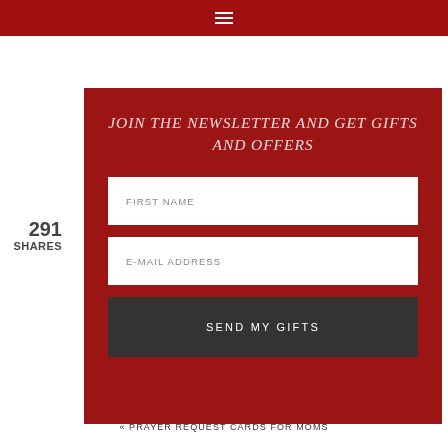≡
291
SHARES
JOIN THE NEWSLETTER AND GET GIFTS AND OFFERS
FIRST NAME
E-MAIL ADDRESS
SEND MY GIFTS
« PRAYER REQUEST CARDS FOR MOMS